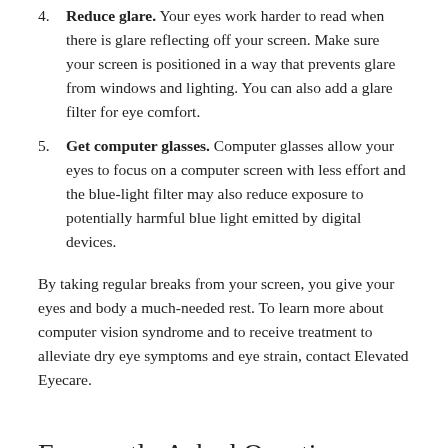4. Reduce glare. Your eyes work harder to read when there is glare reflecting off your screen. Make sure your screen is positioned in a way that prevents glare from windows and lighting. You can also add a glare filter for eye comfort.
5. Get computer glasses. Computer glasses allow your eyes to focus on a computer screen with less effort and the blue-light filter may also reduce exposure to potentially harmful blue light emitted by digital devices.
By taking regular breaks from your screen, you give your eyes and body a much-needed rest. To learn more about computer vision syndrome and to receive treatment to alleviate dry eye symptoms and eye strain, contact Elevated Eyecare.
Frequently Asked Questions with Dr. Santrell Hart-Moreland & Dr. Ayana Robateau